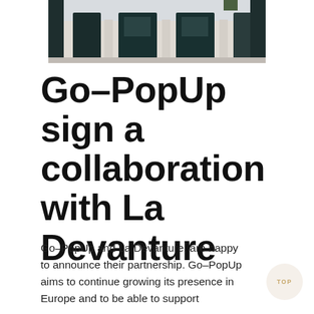[Figure (photo): Photo of a building facade with dark doorways/windows and stone columns, partial view cropped at top of page]
Go–PopUp sign a collaboration with La Devanture
Go–PopUp and La Devanture, are happy to announce their partnership.  Go–PopUp aims to continue growing its presence in Europe and to be able to support